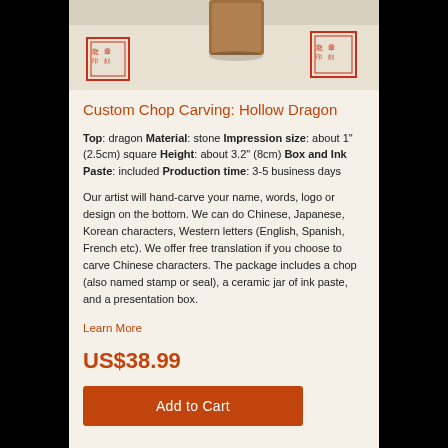[Figure (photo): Photo of a hand-carved stone chop/stamp with red ink impressions showing Chinese seal characters on white paper background.]
Custom Chop Carving: Hollow Dragon
Top: dragon Material: stone Impression size: about 1" (2.5cm) square Height: about 3.2" (8cm) Box and Ink Paste: included Production time: 3-5 business days
Our artist will hand-carve your name, words, logo or design on the bottom. We can do Chinese, Japanese, Korean characters, Western letters (English, Spanish, French etc). We offer free translation if you choose to carve Chinese characters. The package includes a chop (also named stamp or seal), a ceramic jar of ink paste, and a presentation box.
Learn More
US$38.99
Add to Cart